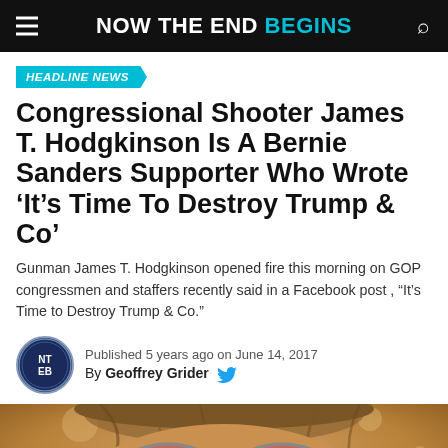NOW THE END BEGINS
HEADLINE NEWS
Congressional Shooter James T. Hodgkinson Is A Bernie Sanders Supporter Who Wrote ‘It’s Time To Destroy Trump & Co’
Gunman James T. Hodgkinson opened fire this morning on GOP congressmen and staffers recently said in a Facebook post , “It’s Time to Destroy Trump & Co.”
Published 5 years ago on June 14, 2017
By Geoffrey Grider
[Figure (photo): Close-up photo of a person wearing round tinted red/pink sunglasses]